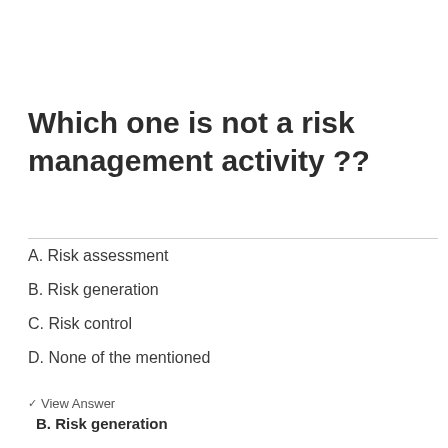Which one is not a risk management activity ??
A. Risk assessment
B. Risk generation
C. Risk control
D. None of the mentioned
✓ View Answer
B. Risk generation